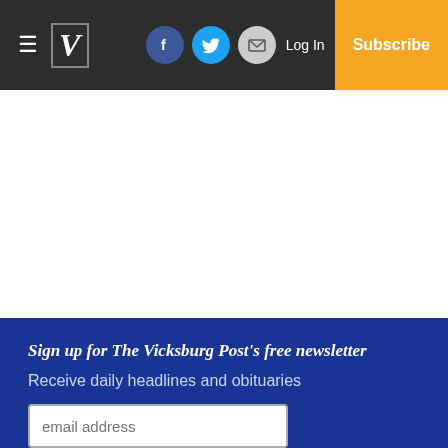The Vicksburg Post — navigation header with hamburger menu, logo, Facebook, Twitter, Email icons, Log In, Subscribe
Sign up for The Vicksburg Post's free newsletter
Receive daily headlines and obituaries
email address
Subscribe